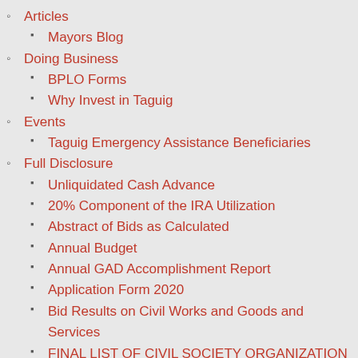Articles
Mayors Blog
Doing Business
BPLO Forms
Why Invest in Taguig
Events
Taguig Emergency Assistance Beneficiaries
Full Disclosure
Unliquidated Cash Advance
20% Component of the IRA Utilization
Abstract of Bids as Calculated
Annual Budget
Annual GAD Accomplishment Report
Application Form 2020
Bid Results on Civil Works and Goods and Services
FINAL LIST OF CIVIL SOCIETY ORGANIZATION OF APPLICANTS FOR RENEWAL AND ACCREDITATION
Invitation to Bid
Local Disaster Risk Reduction and Management Fund Utilization (LDRRMF)
Notice of Postponement